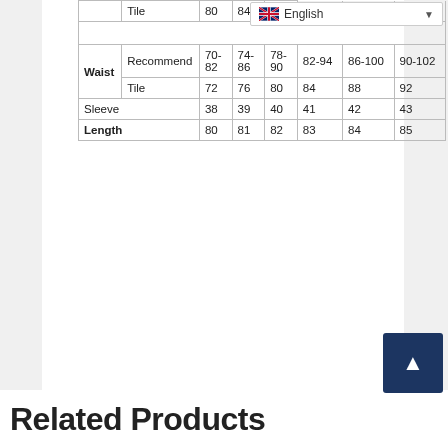|  |  | S | M | L | XL | XXL | XXXL |
| --- | --- | --- | --- | --- | --- | --- | --- |
|  | Tile | 80 | 84 | 88 |  |  |  |
| Waist | Recommend | 70-82 | 74-86 | 78-90 | 82-94 | 86-100 | 90-102 |
|  | Tile | 72 | 76 | 80 | 84 | 88 | 92 |
| Sleeve |  | 38 | 39 | 40 | 41 | 42 | 43 |
| Length |  | 80 | 81 | 82 | 83 | 84 | 85 |
Related Products